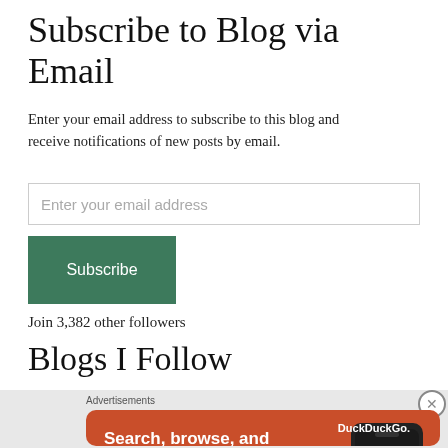Subscribe to Blog via Email
Enter your email address to subscribe to this blog and receive notifications of new posts by email.
Join 3,382 other followers
Blogs I Follow
[Figure (screenshot): DuckDuckGo advertisement banner with orange background showing 'Search, browse, and email with more privacy. All in One Free App' with a phone mockup and DuckDuckGo logo]